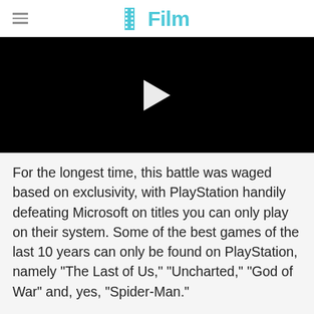/Film
[Figure (screenshot): Black video player with white play button triangle in the center]
For the longest time, this battle was waged based on exclusivity, with PlayStation handily defeating Microsoft on titles you can only play on their system. Some of the best games of the last 10 years can only be found on PlayStation, namely "The Last of Us," "Uncharted," "God of War" and, yes, "Spider-Man."
When it comes to "Spider-Man" that wasn't always